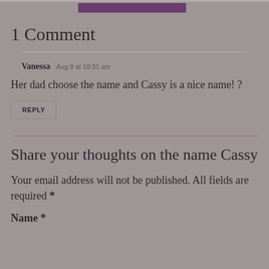1 Comment
Vanessa Aug 9 at 10:31 am
Her dad choose the name and Cassy is a nice name! ?
REPLY
Share your thoughts on the name Cassy
Your email address will not be published. All fields are required *
Name *